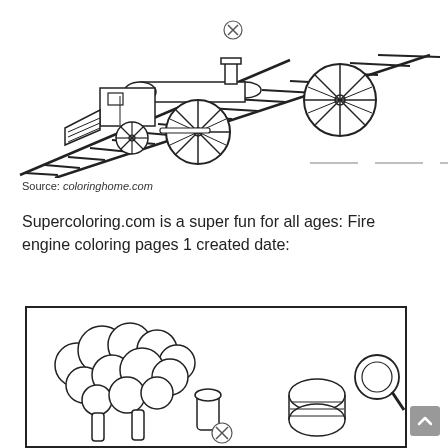[Figure (illustration): Black and white line drawing coloring page of a steam locomotive train on railroad tracks, viewed from a slight angle. The locomotive has large spoke wheels, a smokestack, and various mechanical details. There are three short horizontal lines visible near the bottom of the image area.]
Source: coloringhome.com
Supercoloring.com is a super fun for all ages: Fire engine coloring pages 1 created date:
[Figure (illustration): Black and white line drawing coloring page partially visible, showing what appears to be a sheep or fluffy animal on the left side and a cylindrical object (possibly a log or barrel) with a magnifying glass on the right side. The image is cropped at the bottom of the page. A small circular close/delete button icon is visible on the image.]